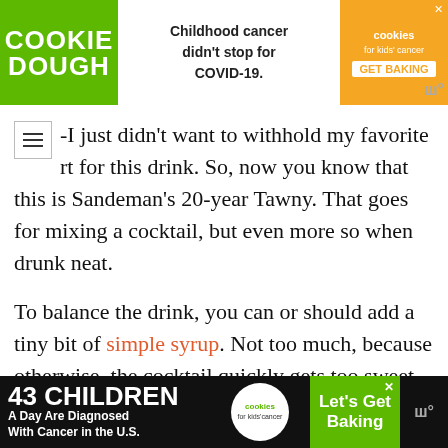[Figure (screenshot): Advertisement banner at top: Cookie Dough - Childhood cancer didn't stop for COVID-19. Cookies for Kids Cancer - GET BAKING]
-I just didn't want to withhold my favorite rt for this drink. So, now you know that this is Sandeman's 20-year Tawny. That goes for mixing a cocktail, but even more so when drunk neat.
To balance the drink, you can or should add a tiny bit of simple syrup. Not too much, because otherwise, the cocktail quickly gets too sweet. Just enough to balance the ingredients.
[Figure (screenshot): Advertisement banner at bottom: 43 CHILDREN A Day Are Diagnosed With Cancer in the U.S. Cookies for kids cancer - Let's Get Baking]